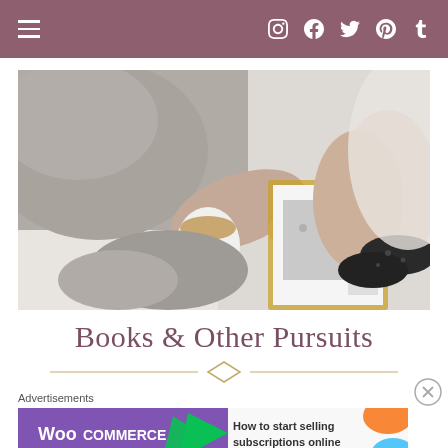Navigation header with hamburger menu and social icons: Instagram, Facebook, Twitter, Pinterest, Tumblr
[Figure (photo): Overhead view of a person in a grey sweater sitting on a bed, holding a cup of coffee and reading an open book. Their legs are visible with black socks.]
Books & Other Pursuits
[Figure (other): Decorative diamond/chevron divider line in gold/tan color]
Advertisements
[Figure (screenshot): WooCommerce advertisement banner: 'How to start selling subscriptions online' with WooCommerce logo and colorful geometric shapes]